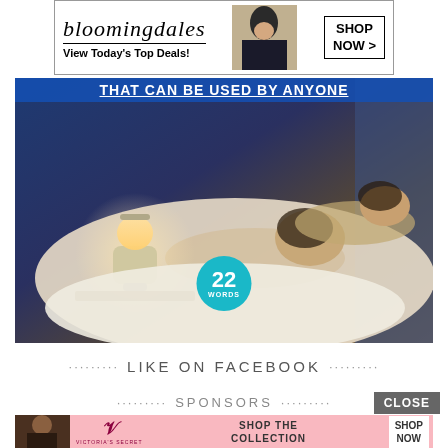[Figure (screenshot): Bloomingdale's advertisement banner with logo, tagline 'View Today's Top Deals!', model photo, and 'SHOP NOW >' button]
[Figure (photo): Article image showing two people sleeping next to a glowing night lamp on a bedside table, with overlay title 'THAT CAN BE USED BY ANYONE' and a teal badge showing '22 WORDS']
LIKE ON FACEBOOK
SPONSORS
[Figure (screenshot): Victoria's Secret advertisement banner with model photo, VS logo, 'SHOP THE COLLECTION' text, and 'SHOP NOW' button]